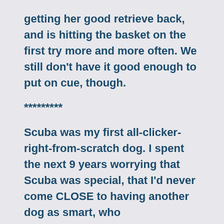getting her good retrieve back, and is hitting the basket on the first try more and more often. We still don't have it good enough to put on cue, though.
*********
Scuba was my first all-clicker-right-from-scratch dog. I spent the next 9 years worrying that Scuba was special, that I'd never come CLOSE to having another dog as smart, who